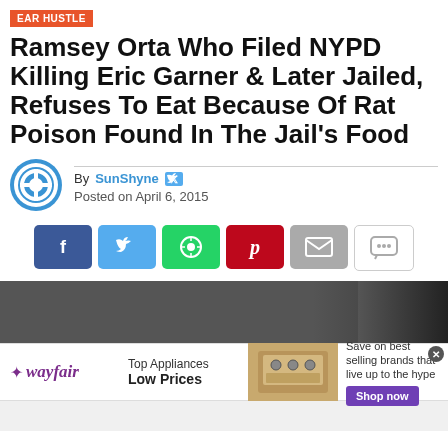EAR HUSTLE
Ramsey Orta Who Filed NYPD Killing Eric Garner & Later Jailed, Refuses To Eat Because Of Rat Poison Found In The Jail’s Food
By SunShyne
Posted on April 6, 2015
[Figure (infographic): Social share buttons: Facebook, Twitter, WhatsApp, Pinterest, Email, Comment]
[Figure (photo): Article header image, dark/dim photograph]
[Figure (infographic): Wayfair advertisement: Top Appliances Low Prices, Shop now button]